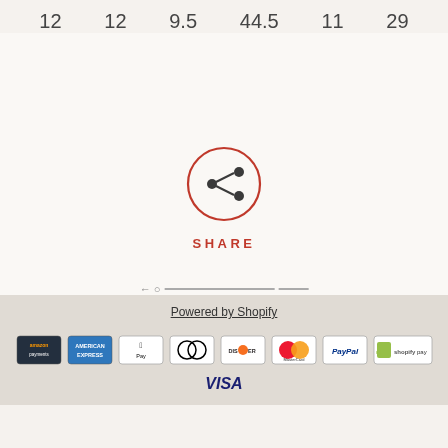12  12  9.5  44.5  11  29
[Figure (illustration): Share button: a circle with a share/network icon inside, colored in red/dark red, with the word SHARE below in red spaced letters]
Powered by Shopify
[Figure (infographic): Payment method logos: Amazon Payments, American Express, Apple Pay, Diners Club, Discover, MasterCard, PayPal, Shopify Pay, Visa]